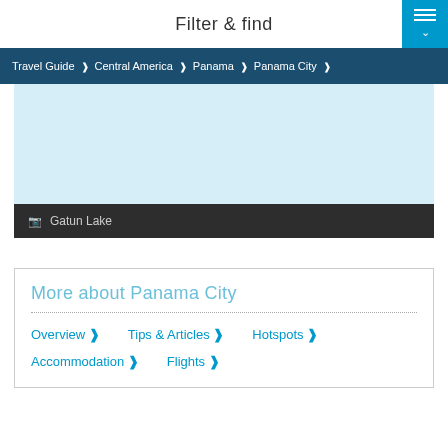Filter & find
Travel Guide > Central America > Panama > Panama City >
[Figure (photo): Light blue placeholder image of Gatun Lake]
📷 Gatun Lake
More about Panama City
Overview >
Tips & Articles >
Hotspots >
Accommodation >
Flights >